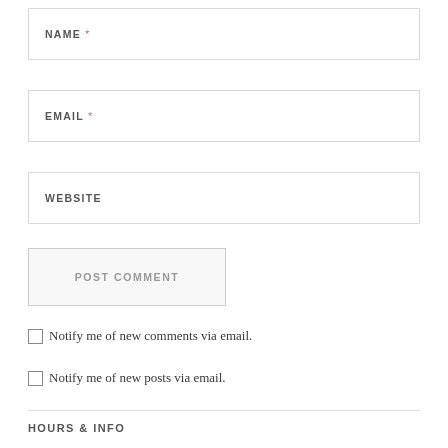NAME *
EMAIL *
WEBSITE
POST COMMENT
Notify me of new comments via email.
Notify me of new posts via email.
HOURS & INFO